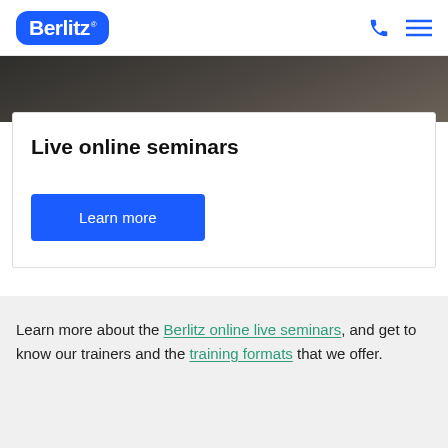[Figure (logo): Berlitz logo — white bold text on blue rounded rectangle, with registered trademark symbol]
[Figure (photo): Dark cropped photo strip — appears to show a person/trainer, dimly lit]
Live online seminars
Learn more
Learn more about the Berlitz online live seminars, and get to know our trainers and the training formats that we offer.